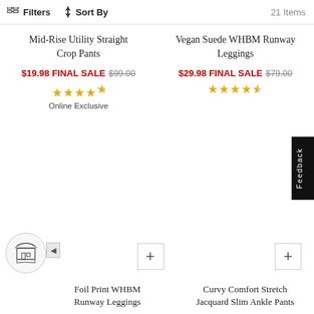Filters  Sort By  21 Items
Mid-Rise Utility Straight Crop Pants
$19.98 FINAL SALE $99.00
★★★★½
Online Exclusive
Vegan Suede WHBM Runway Leggings
$29.98 FINAL SALE $79.00
★★★★½
Foil Print WHBM Runway Leggings
Curvy Comfort Stretch Jacquard Slim Ankle Pants